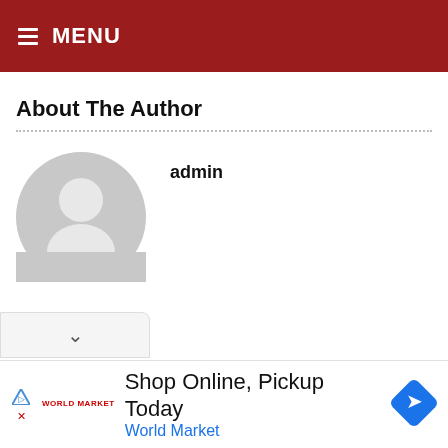≡ MENU
About The Author
admin
[Figure (illustration): Generic grey avatar/profile silhouette placeholder image]
Shop Online, Pickup Today
World Market